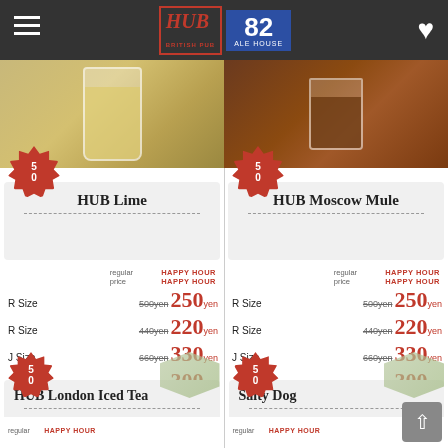HUB BRITISH PUB | 82 ALE HOUSE
[Figure (photo): Photo of HUB Lime cocktail drink in a tall glass]
[Figure (photo): Photo of HUB Moscow Mule cocktail drink in a rocks glass]
HUB Lime
| Size | regular price | HAPPY HOUR price |
| --- | --- | --- |
| R Size | 500yen | 250yen |
| R Size | 440yen | 220yen |
| J Size | 660yen | 330yen |
| J Size | 600yen | 300yen |
HUB Moscow Mule
| Size | regular price | HAPPY HOUR price |
| --- | --- | --- |
| R Size | 500yen | 250yen |
| R Size | 440yen | 220yen |
| J Size | 660yen | 330yen |
| J Size | 600yen | 300yen |
HUB London Iced Tea
Salty Dog
regular
HAPPY HOUR
regular
HAPPY HOUR